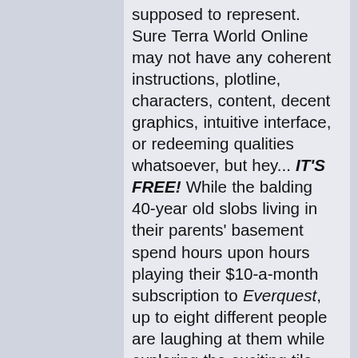supposed to represent. Sure Terra World Online may not have any coherent instructions, plotline, characters, content, decent graphics, intuitive interface, or redeeming qualities whatsoever, but hey... IT'S FREE! While the balding 40-year old slobs living in their parents' basement spend hours upon hours playing their $10-a-month subscription to Everquest, up to eight different people are laughing at them while exploring the exciting tile-based universe of Terra World Online. Yeah, these eight people are probably also balding 40-year old slobs living in their parents' basement, but there's a major difference